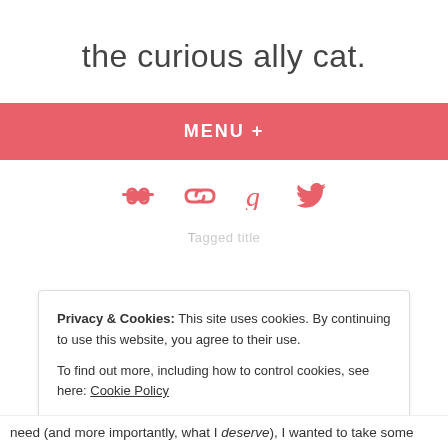the curious ally cat.
MENU +
[Figure (infographic): Four social/link icons in salmon/red-pink color: two chain-link icons, a Goodreads 'g' icon, and a Twitter bird icon]
Privacy & Cookies: This site uses cookies. By continuing to use this website, you agree to their use. To find out more, including how to control cookies, see here: Cookie Policy
Close and accept
need (and more importantly, what I deserve), I wanted to take some